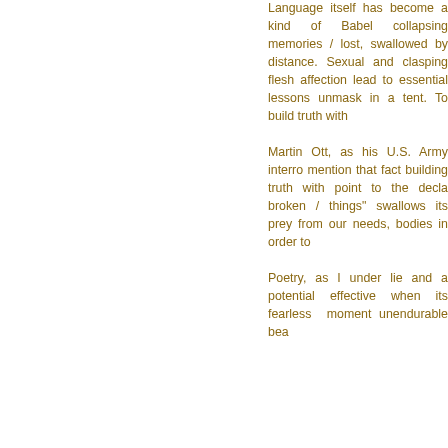Language itself has become a kind of Babel collapsing into lost memories / lost, swallowed by distance. Sexual confusion and clasping flesh and animal affection lead to the essential lessons we unmask in a tentative exchange. To build truth with...
Martin Ott, as his experience as U.S. Army interrogator, would mention that facts themselves are building truth with lies. I would point to the declaration of "broken / things" and how language swallows its prey, separating us from our needs, animating our bodies in order to...
Poetry, as I understand it, is both lie and a potential truth. It is most effective when it captures those fearless moments of the unendurable bea...